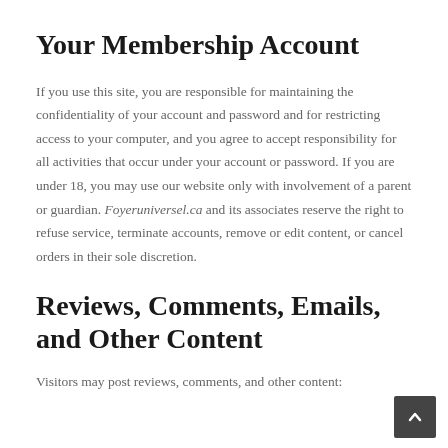Your Membership Account
If you use this site, you are responsible for maintaining the confidentiality of your account and password and for restricting access to your computer, and you agree to accept responsibility for all activities that occur under your account or password. If you are under 18, you may use our website only with involvement of a parent or guardian. Foyeruniversel.ca and its associates reserve the right to refuse service, terminate accounts, remove or edit content, or cancel orders in their sole discretion.
Reviews, Comments, Emails, and Other Content
Visitors may post reviews, comments, and other content: